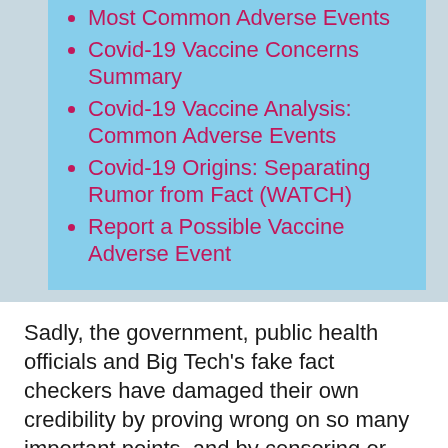Most Common Adverse Events
Covid-19 Vaccine Concerns Summary
Covid-19 Vaccine Analysis: Common Adverse Events
Covid-19 Origins: Separating Rumor from Fact (WATCH)
Report a Possible Vaccine Adverse Event
Sadly, the government, public health officials and Big Tech's fake fact checkers have damaged their own credibility by proving wrong on so many important points, and by censoring or disparaging factually accurate information.